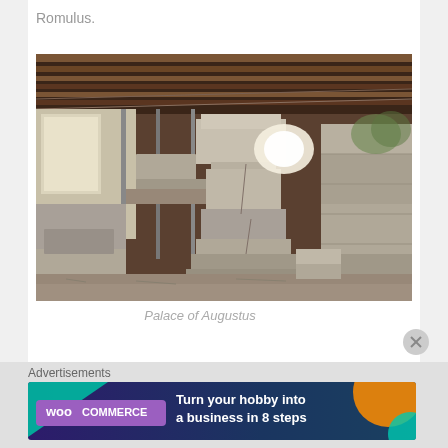Romulus.
[Figure (photo): Interior of an archaeological shelter showing ancient stone ruins and large limestone blocks, identified as the Palace of Augustus on Palatine Hill, Rome. A corrugated metal roof covers the site, with metal support columns visible.]
Palace of Augustus
Advertisements
[Figure (screenshot): WooCommerce advertisement banner with dark purple/teal background reading 'Turn your hobby into a business in 8 steps']